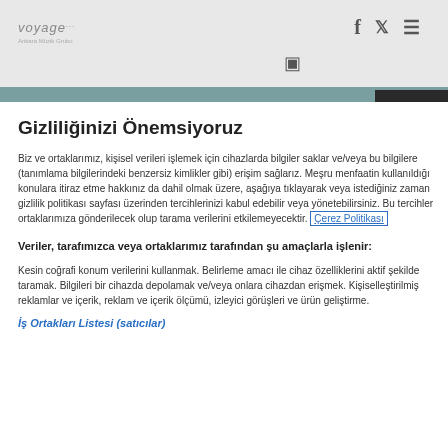voyage | social media icons: Facebook, Twitter, Instagram, Menu
Gizliliğinizi Önemsiyoruz
Biz ve ortaklarımız, kişisel verileri işlemek için cihazlarda bilgiler saklar ve/veya bu bilgilere (tanımlama bilgilerindeki benzersiz kimlikler gibi) erişim sağlarız. Meşru menfaatin kullanıldığı konulara itiraz etme hakkınız da dahil olmak üzere, aşağıya tıklayarak veya istediğiniz zaman gizlilik politikası sayfası üzerinden tercihlerinizi kabul edebilir veya yönetebilirsiniz. Bu tercihler ortaklarımıza gönderilecek olup tarama verilerini etkilemeyecektir. Çerez Politikası
Veriler, tarafımızca veya ortaklarımız tarafından şu amaçlarla işlenir:
Kesin coğrafi konum verilerini kullanmak. Belirleme amacı ile cihaz özelliklerini aktif şekilde taramak. Bilgileri bir cihazda depolamak ve/veya onlara cihazdan erişmek. Kişiselleştirilmiş reklamlar ve içerik, reklam ve içerik ölçümü, izleyici görüşleri ve ürün geliştirme.
İş Ortakları Listesi (satıcılar)